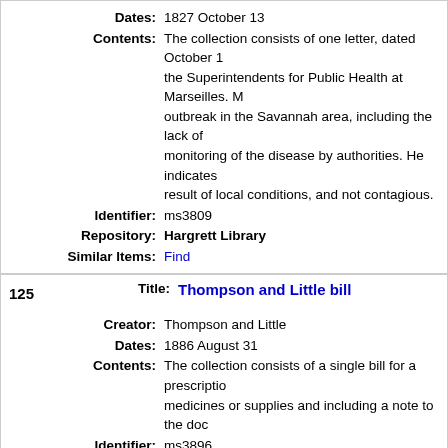Dates: 1827 October 13
Contents: The collection consists of one letter, dated October 1, to the Superintendents for Public Health at Marseilles. Mentions outbreak in the Savannah area, including the lack of monitoring of the disease by authorities. He indicates result of local conditions, and not contagious.
Identifier: ms3809
Repository: Hargrett Library
Similar Items: Find
125 Title: Thompson and Little bill
Creator: Thompson and Little
Dates: 1886 August 31
Contents: The collection consists of a single bill for a prescription medicines or supplies and including a note to the doc
Identifier: ms3896
Repository: Hargrett Library
Similar Items: Find
126 Title: "Thoughts About The War" banners
Creator: University of Georgia. Department of Student Activities
Dates: 2003 March-April
Contents: The main collection consists of 14 sheets of white pa chronological groups according to the period when th